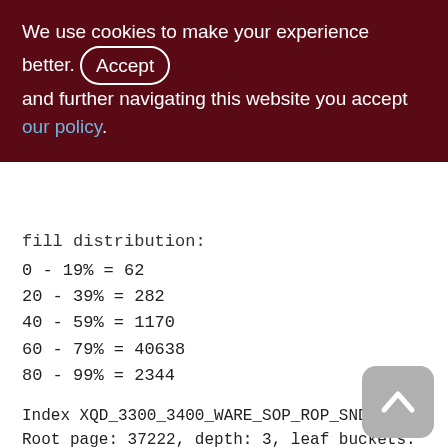We use cookies to make your experience better. By accepting and further navigating this website you accept our policy.
fill distribution:
0 - 19% = 62
20 - 39% = 282
40 - 59% = 1170
60 - 79% = 40638
80 - 99% = 2344
Index XQD_3300_3400_WARE_SOP_ROP_SND (0) Root page: 37222, depth: 3, leaf buckets: 6235, nodes: 2943688 Average node length: 6.90, total dup: 2376570, max dup: 14 Average key length: 3.92, compression